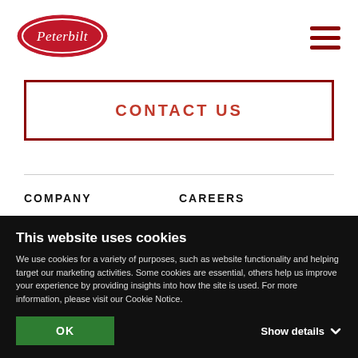[Figure (logo): Peterbilt oval logo in red with white cursive text]
[Figure (other): Hamburger menu icon with three dark red horizontal lines]
CONTACT US
COMPANY
CAREERS
HISTORY
INNOVATION
This website uses cookies
We use cookies for a variety of purposes, such as website functionality and helping target our marketing activities. Some cookies are essential, others help us improve your experience by providing insights into how the site is used. For more information, please visit our Cookie Notice.
OK
Show details